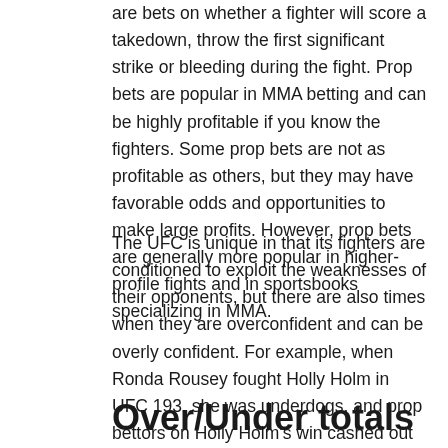are bets on whether a fighter will score a takedown, throw the first significant strike or bleeding during the fight. Prop bets are popular in MMA betting and can be highly profitable if you know the fighters. Some prop bets are not as profitable as others, but they may have favorable odds and opportunities to make large profits. However, prop bets are generally more popular in higher-profile fights and in sportsbooks specializing in MMA.
The UFC is unique in that its fighters are conditioned to exploit the weaknesses of their opponents, but there are also times when they are overconfident and can be overly confident. For example, when Ronda Rousey fought Holly Holm in UFC 193, she was underdogs, and prop bettors on Holly Holm's win cashed out big. While she may have lost the match, you can still find value in MMA prop bets and futures.
Over/Under totals